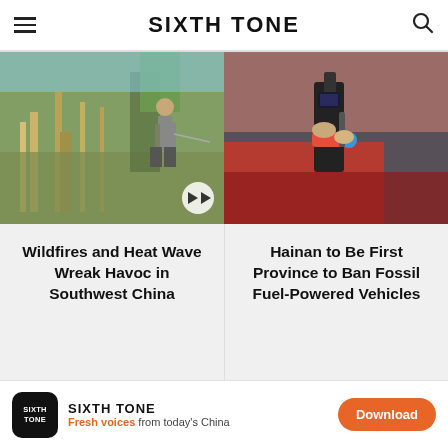SIXTH TONE
[Figure (photo): Left: Person watering dried plants in a field during heat wave/wildfire conditions]
[Figure (photo): Right: Hand holding a fuel pump nozzle at a gas station, car in background]
Wildfires and Heat Wave Wreak Havoc in Southwest China
Hainan to Be First Province to Ban Fossil Fuel-Powered Vehicles
[Figure (photo): Left bottom: Dark scene with animal and luggage items]
[Figure (photo): Right bottom: Woman wearing pink vest working at industrial facility]
SIXTH TONE — Fresh voices from today's China — Download